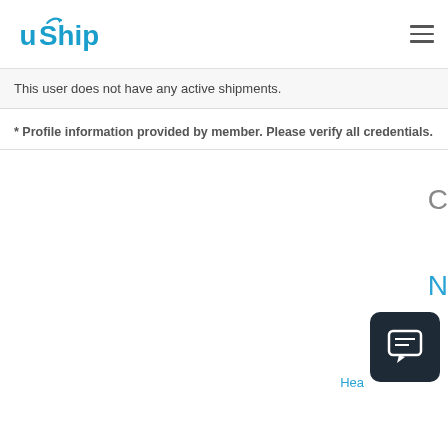uShip logo and navigation menu
This user does not have any active shipments.
* Profile information provided by member. Please verify all credentials.
[Figure (other): Chat support button widget in bottom-right corner]
Hea